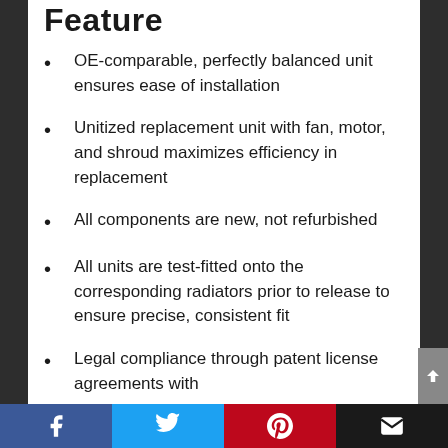Feature
OE-comparable, perfectly balanced unit ensures ease of installation
Unitized replacement unit with fan, motor, and shroud maximizes efficiency in replacement
All components are new, not refurbished
All units are test-fitted onto the corresponding radiators prior to release to ensure precise, consistent fit
Legal compliance through patent license agreements with